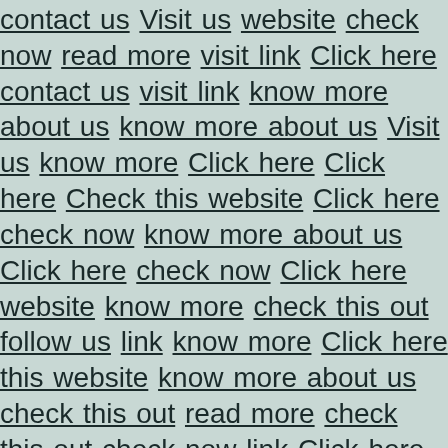contact us Visit us website check now read more visit link Click here contact us visit link know more about us know more about us Visit us know more Click here Click here Check this website Click here check now know more about us Click here check now Click here website know more check this out follow us link know more Click here this website know more about us check this out read more check this out check now link Click here this website website website Check this website website read more know more visit link visit link this website visit link know more about us this website check this out visit link contact us this website follow us Click here this website know